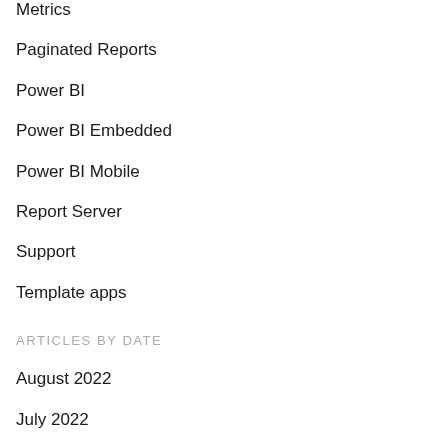Metrics
Paginated Reports
Power BI
Power BI Embedded
Power BI Mobile
Report Server
Support
Template apps
ARTICLES BY DATE
August 2022
July 2022
June 2022
May 2022